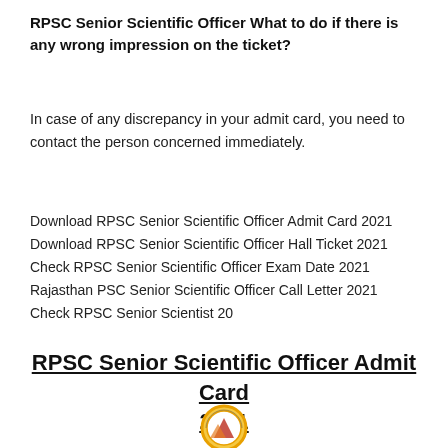RPSC Senior Scientific Officer What to do if there is any wrong impression on the ticket?
In case of any discrepancy in your admit card, you need to contact the person concerned immediately.
Download RPSC Senior Scientific Officer Admit Card 2021
Download RPSC Senior Scientific Officer Hall Ticket 2021
Check RPSC Senior Scientific Officer Exam Date 2021
Rajasthan PSC Senior Scientific Officer Call Letter 2021
Check RPSC Senior Scientist 20
RPSC Senior Scientific Officer Admit Card 2021
[Figure (logo): Rajasthan Public Service Commission logo — circular emblem with orange/yellow border and figures in center]